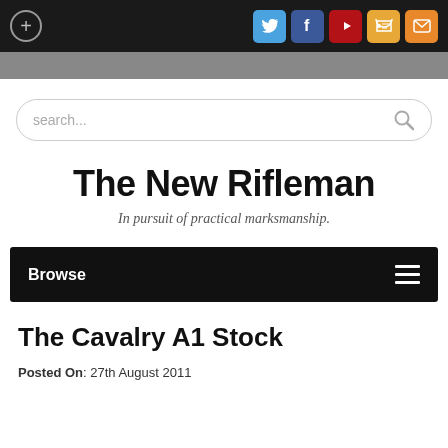+ [social icons: Twitter, Facebook, YouTube, RSS, Email]
[Figure (screenshot): Gray navigation bar area]
[Figure (screenshot): Search box with placeholder text 'search...' and magnifier icon]
The New Rifleman
In pursuit of practical marksmanship.
Browse
The Cavalry A1 Stock
Posted On: 27th August 2011